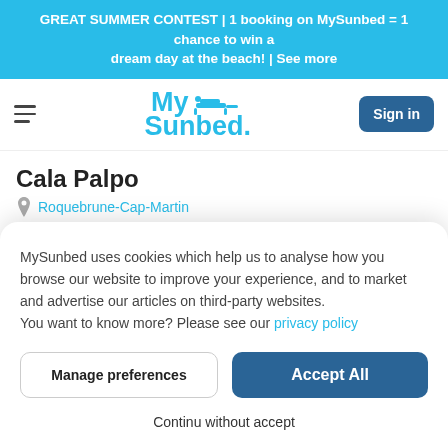GREAT SUMMER CONTEST | 1 booking on MySunbed = 1 chance to win a dream day at the beach! | See more
[Figure (screenshot): MySunbed logo with sunbed icon and Sign in button in navigation bar]
Cala Palpo
Roquebrune-Cap-Martin
MySunbed uses cookies which help us to analyse how you browse our website to improve your experience, and to market and advertise our articles on third-party websites.
You want to know more? Please see our privacy policy
Manage preferences
Accept All
Continu without accept